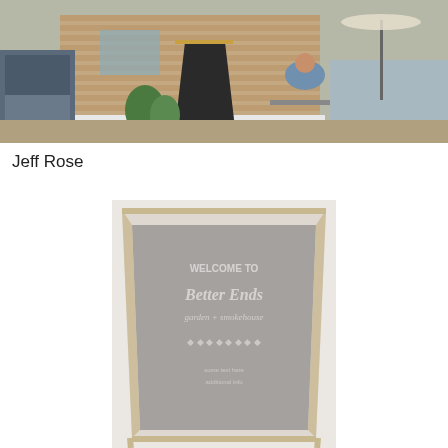[Figure (photo): Outdoor photo of a small brick cafe building with an A-frame chalkboard sign in front, a car parked to the left, plants and greenery around the entrance, and people sitting at outdoor tables on the right side.]
Jeff Rose
[Figure (photo): Close-up photo of an A-frame chalkboard sign with faded/washed-out appearance reading 'WELCOME TO Better Ends garden + smokehouse' with decorative lettering and additional text below.]